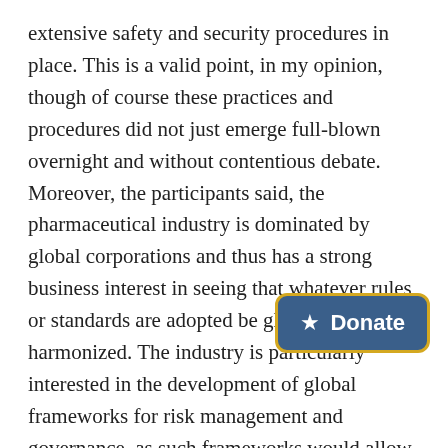extensive safety and security procedures in place. This is a valid point, in my opinion, though of course these practices and procedures did not just emerge full-blown overnight and without contentious debate. Moreover, the participants said, the pharmaceutical industry is dominated by global corporations and thus has a strong business interest in seeing that whatever rules or standards are adopted be globally harmonized. The industry is particularly interested in the development of global frameworks for risk management and governance, as such frameworks would allow companies to manage all of their operations effectively across the multiple regulatory in which they operate.

The flip side of this strong support for global approaches is, of course, that industry is likely to